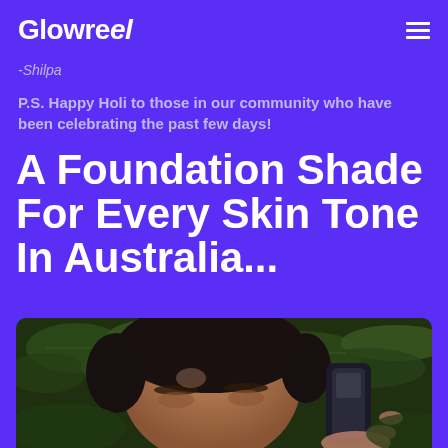Glowreel
-Shilpa
P.S. Happy Holi to those in our community who have been celebrating the past few days!
A Foundation Shade For Every Skin Tone In Australia...
[Figure (photo): Close-up photo of a woman with dark hair holding a makeup foundation product, with green leafy plants in the background]